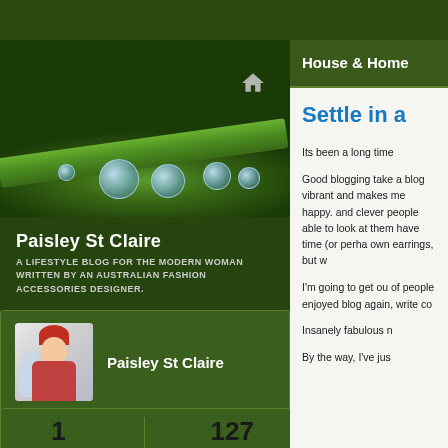[Figure (photo): Close-up photo of green plant stem with water droplets/dew drops hanging underneath, dark green background]
Paisley St Claire
A LIFESTYLE BLOG FOR THE MODERN WOMAN WRITTEN BY AN AUSTRALIAN FASHION ACCESSORIES DESIGNER.
[Figure (photo): Avatar/thumbnail of a doll figure with red hair and a blue rabbit]
Paisley St Claire
1
FOLLOWING
127
FOLLOWERS
House & Home
Settle in a
Its been a long time
Good blogging takes a blog vibrant and makes me happy. and clever people able to look at them have time (or perha own earrings, but w
I'm going to get ou of people enjoyed blog again, write co
Insanely fabulous n
By the way, I've jus